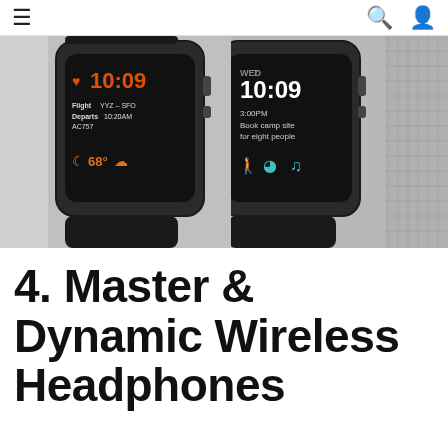≡  🔍  👤
[Figure (photo): Two Apple Watch Series 2 devices with black sport bands showing different watch faces — left showing time 10:09 with flight info (YYZ-SFO, Departs 10:20AM, AC757) and 68° weather, right showing 10:09 Wednesday the 7th with 3:00PM calendar event 'Book camp site for eight people' and activity icons. Third watch partially visible on far right showing gray nylon band closeup.]
4. Master & Dynamic Wireless Headphones